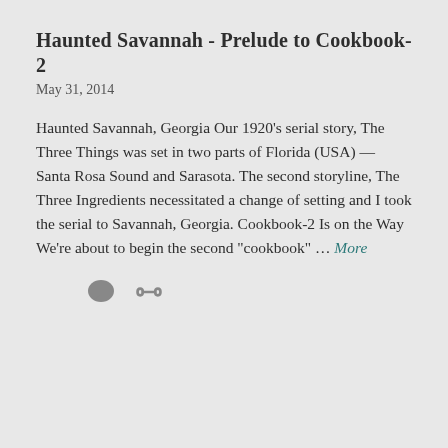Haunted Savannah - Prelude to Cookbook-2
May 31, 2014
Haunted Savannah, Georgia Our 1920’s serial story, The Three Things was set in two parts of Florida (USA) — Santa Rosa Sound and Sarasota. The second storyline, The Three Ingredients necessitated a change of setting and I took the serial to Savannah, Georgia. Cookbook-2 Is on the Way We’re about to begin the second “cookbook” … More
[Figure (other): Comment bubble icon and chain link icon]